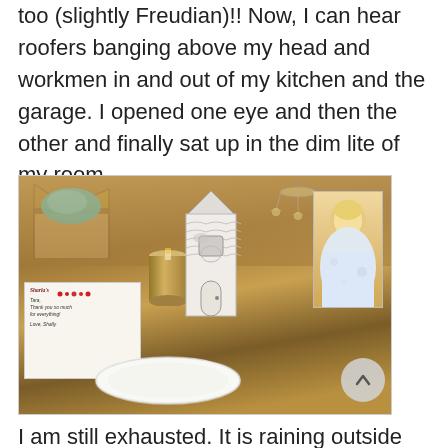too (slightly Freudian)!! Now, I can hear roofers banging above my head and workmen in and out of my kitchen and the garage. I opened one eye and then the other and finally sat up in the dim lite of my room.
[Figure (photo): Photo of items on a granite countertop: an open cardboard box with turquoise tissue paper, a thank-you card from Sharla's, a decorative house-shaped card, a cylindrical candle holder, a white plate, a portrait photo card, and a chandelier visible in the background. A scroll-to-top button (circle with upward arrow) overlays the bottom right.]
I am still exhausted. It is raining outside